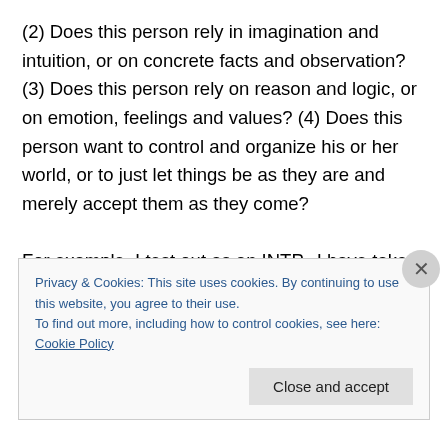(2) Does this person rely in imagination and intuition, or on concrete facts and observation? (3) Does this person rely on reason and logic, or on emotion, feelings and values? (4) Does this person want to control and organize his or her world, or to just let things be as they are and merely accept them as they come?

For example, I test out as an INTP.  I have taken various versions of the Myers-Briggs test several times over several decades, and I've staid within that general framework.  I am a moderate I (for Introvert), fairly strong
Privacy & Cookies: This site uses cookies. By continuing to use this website, you agree to their use.
To find out more, including how to control cookies, see here: Cookie Policy
Close and accept